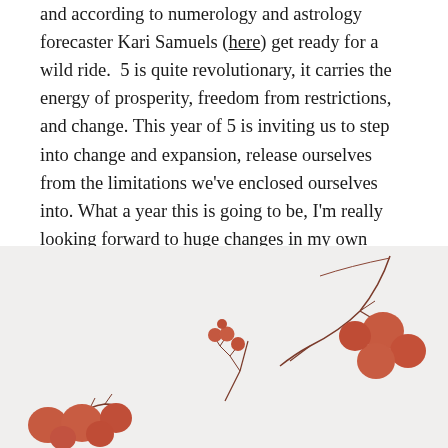and according to numerology and astrology forecaster Kari Samuels (here) get ready for a wild ride.  5 is quite revolutionary, it carries the energy of prosperity, freedom from restrictions, and change. This year of 5 is inviting us to step into change and expansion, release ourselves from the limitations we've enclosed ourselves into. What a year this is going to be, I'm really looking forward to huge changes in my own personal inner and spiritual growth.
[Figure (illustration): Botanical illustration of red berry branches on a light grey background. Small delicate berry clusters and larger berry groups on stems are depicted in a terracotta/rust red color.]